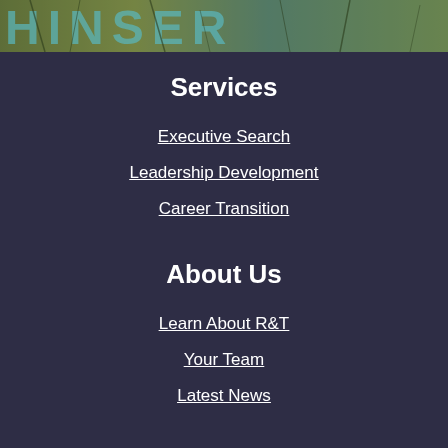[Figure (photo): Textured banner image at the top of the page showing cracked surface with teal/blue tones and partial text letters visible]
Services
Executive Search
Leadership Development
Career Transition
About Us
Learn About R&T
Your Team
Latest News